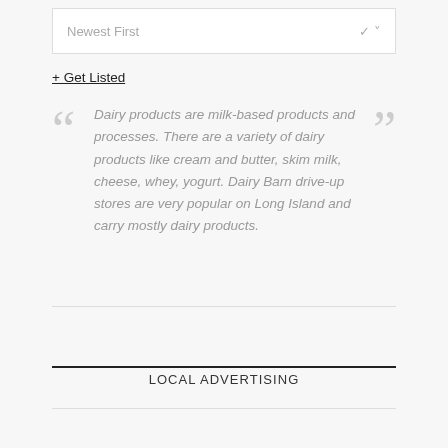[Figure (screenshot): Dropdown select box showing 'Newest First' with a chevron arrow on the right]
+ Get Listed
Dairy products are milk-based products and processes. There are a variety of dairy products like cream and butter, skim milk, cheese, whey, yogurt. Dairy Barn drive-up stores are very popular on Long Island and carry mostly dairy products.
LOCAL ADVERTISING